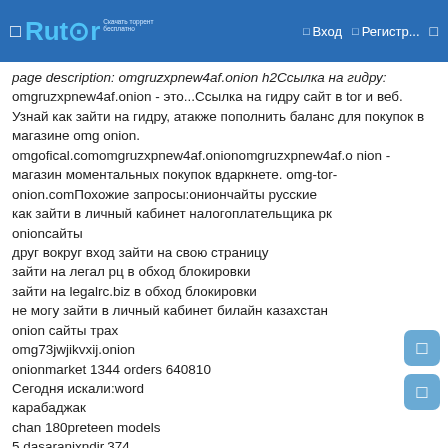Rutor — Вход — Регистр...
page description: omgruzxpnew4af.onion h2Ссылка на гидру: omgruzxpnew4af.onion - это...Ссылка на гидру сайт в tor и веб. Узнай как зайти на гидру, атакже пополнить баланс для покупок в магазине omg onion. omgofical.comomgruzxpnew4af.onionomgruzxpnew4af.onion - магазин моментальных покупок вдаркнете. omg-tor-onion.comПохожие запросы:onioncайты русские
как зайти в личный кабинет налогоплательщика рк
onioncайты
друг вокруг вход зайти на свою страницу
зайти на легал рц в обход блокировки
зайти на legalrc.biz в обход блокировки
не могу зайти в личный кабинет билайн казахстан
onion сайты трах
omg73jwjikvxij.onion
onionmarket 1344 orders 640810
Сегодня искали:word
карабаджак
chan 180preteen models
5.dasaranixndir.374